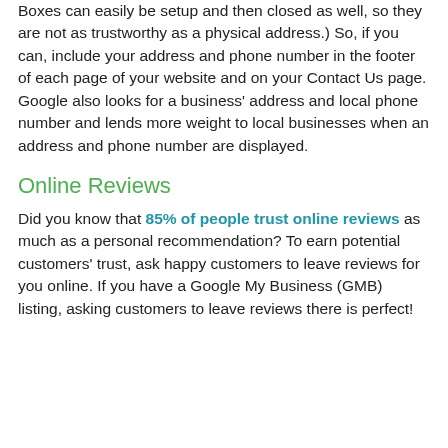Boxes can easily be setup and then closed as well, so they are not as trustworthy as a physical address.) So, if you can, include your address and phone number in the footer of each page of your website and on your Contact Us page. Google also looks for a business' address and local phone number and lends more weight to local businesses when an address and phone number are displayed.
Online Reviews
Did you know that 85% of people trust online reviews as much as a personal recommendation? To earn potential customers' trust, ask happy customers to leave reviews for you online. If you have a Google My Business (GMB) listing, asking customers to leave reviews there is perfect!